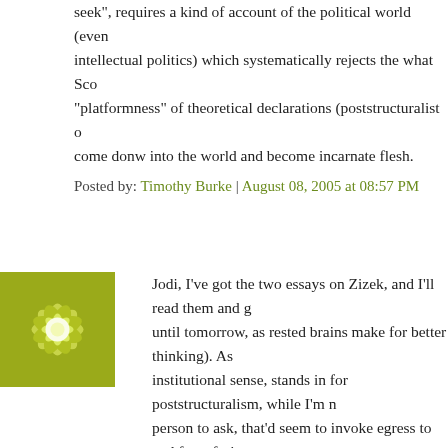seek", requires a kind of account of the political world (even intellectual politics) which systematically rejects the what Scot "platformness" of theoretical declarations (poststructuralist o come donw into the world and become incarnate flesh.
Posted by: Timothy Burke | August 08, 2005 at 08:57 PM
[Figure (illustration): Green and yellow floral/snowflake decorative avatar image]
Jodi, I've got the two essays on Zizek, and I'll read them and g until tomorrow, as rested brains make for better thinking). As institutional sense, stands in for poststructuralism, while I'm n person to ask, that'd seem to invoke egress to and from fryin Lacan have about as little in common as too thinkers can, but theorists and poststructuralists, no?
I'm thinking out-loud here, but here's what I think is the heart the theoretical works I read:
Derrida's rigorous beyond the telling of it and occasionally pl rigorous, but much more playful. The people I sat next to in D weren't at all rigorous, but plenty playful, i.e. facile, unconstra coincidence my contribution to the Theory's Empire event tu What I value in scholarship is rigor, and the random eclecticis self-identifying as theory aren't rigorous and often repeating cliches. One of the few scholars I know who's really invested Lupton, consistently balked in seminars when students woul